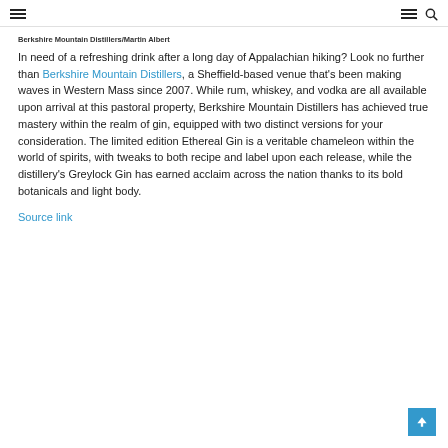navigation header with hamburger menu and search icon
Berkshire Mountain Distillers/Martin Albert
In need of a refreshing drink after a long day of Appalachian hiking? Look no further than Berkshire Mountain Distillers, a Sheffield-based venue that's been making waves in Western Mass since 2007. While rum, whiskey, and vodka are all available upon arrival at this pastoral property, Berkshire Mountain Distillers has achieved true mastery within the realm of gin, equipped with two distinct versions for your consideration. The limited edition Ethereal Gin is a veritable chameleon within the world of spirits, with tweaks to both recipe and label upon each release, while the distillery's Greylock Gin has earned acclaim across the nation thanks to its bold botanicals and light body.
Source link